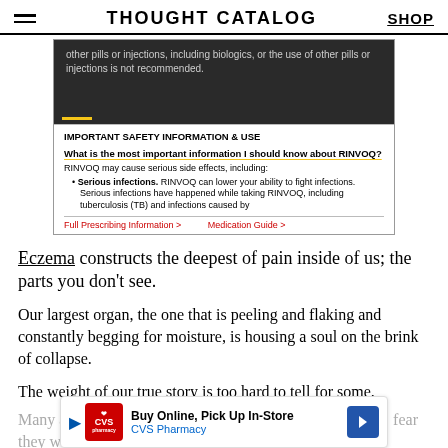THOUGHT CATALOG   SHOP
[Figure (screenshot): Screenshot of a pharmaceutical ad for RINVOQ with IMPORTANT SAFETY INFORMATION overlay. Dark video background showing text about other pills or injections. White box below with IMPORTANT SAFETY INFORMATION & USE, What is the most important information I should know about RINVOQ?, and bullet about Serious infections. Footer links: Full Prescribing Information > and Medication Guide >]
Eczema constructs the deepest of pain inside of us; the parts you don't see.
Our largest organ, the one that is peeling and flaking and constantly begging for moisture, is housing a soul on the brink of collapse.
The weight of our true story is too hard to tell for some.
Many a... fear they w...
[Figure (screenshot): CVS Pharmacy advertisement banner: Buy Online, Pick Up In-Store. CVS Pharmacy logo in red. Blue navigation arrow icon on right.]